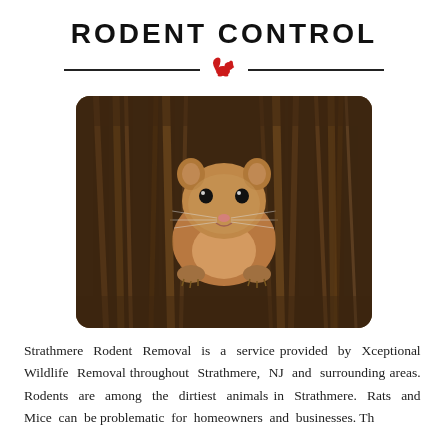RODENT CONTROL
[Figure (photo): Close-up photograph of a small brown mouse or harvest mouse peering through dry grass or reed stems, with dark eyes and tiny claws visible]
Strathmere Rodent Removal is a service provided by Xceptional Wildlife Removal throughout Strathmere, NJ and surrounding areas. Rodents are among the dirtiest animals in Strathmere. Rats and Mice can be problematic for homeowners and businesses. They...